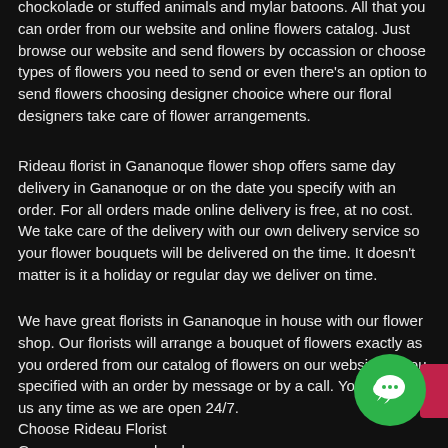chockolade or stuffed animals and mylar batoons. All that you can order from our website and online flowers catalog. Just browse our website and send flowers by occassion or choose types of flowers you need to send or even there's an option to send flowers choosing designer chooice where our floral designers take care of flower arrangements.
Rideau florist in Gananoque flower shop offers same day delivery in Gananoque or on the date you specify with an order. For all orders made online delivery is free, at no cost. We take care of the delivery with our own delivery service so your flower bouquets will be delivered on the time. It doesn't matter is it a holiday or regular day we deliver on time.
We have great florists in Gananoque in house with our flower shop. Our florists will arrange a bouquet of flowers exactly as you ordered from our catalog of flowers on our website or you specified with an order by message or by a call. You can call us any time as we are open 24/7.
Choose Rideau Florist Gananoque as your local florist in Gananoque and make happy a person you love.